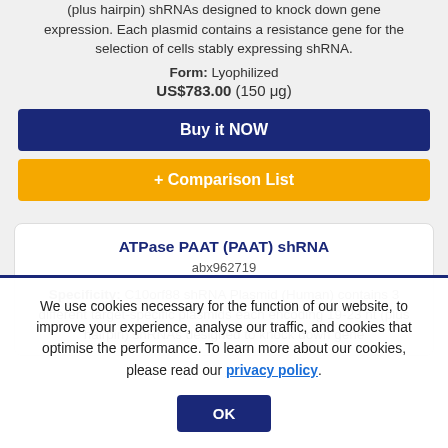(plus hairpin) shRNAs designed to knock down gene expression. Each plasmid contains a resistance gene for the selection of cells stably expressing shRNA.
Form: Lyophilized
US$783.00 (150 μg)
Buy it NOW
+ Comparison List
ATPase PAAT (PAAT) shRNA
abx962719
Specificity: C10orf88 shRNA Plasmid (Human) contains 3 different target-specific plasmids each encoding 19-23 nt (plus hairpin) shRNAs designed to knock down gene
We use cookies necessary for the function of our website, to improve your experience, analyse our traffic, and cookies that optimise the performance. To learn more about our cookies, please read our privacy policy.
OK